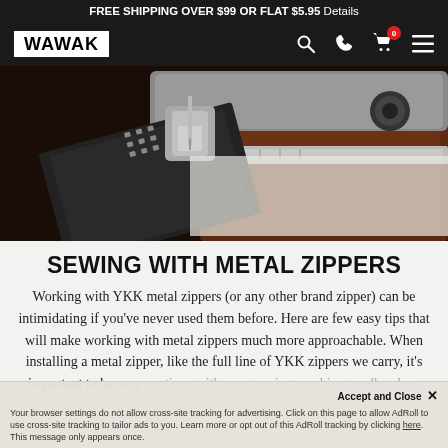FREE SHIPPING OVER $99 OR FLAT $5.95 Details
[Figure (screenshot): WAWAK website navigation bar with logo, search icon, phone icon, cart (0), and hamburger menu on black background]
[Figure (photo): Close-up photo of a sewing machine needle area working on a dark zipper, showing metal zipper teeth and sewing machine foot]
SEWING WITH METAL ZIPPERS
Working with YKK metal zippers (or any other brand zipper) can be intimidating if you've never used them before. Here are few easy tips that will make working with metal zippers much more approachable. When installing a metal zipper, like the full line of YKK zippers we carry, it's important to be very cautious with your sewing machine needle—be sure to ensure that you don't run into the metal teeth. If you find that
Your browser settings do not allow cross-site tracking for advertising. Click on this page to allow AdRoll to use cross-site tracking to tailor ads to you. Learn more or opt out of this AdRoll tracking by clicking here. This message only appears once.